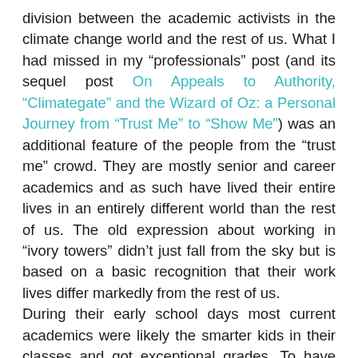division between the academic activists in the climate change world and the rest of us. What I had missed in my "professionals" post (and its sequel post On Appeals to Authority, "Climategate" and the Wizard of Oz: a Personal Journey from "Trust Me" to "Show Me") was an additional feature of the people from the "trust me" crowd. They are mostly senior and career academics and as such have lived their entire lives in an entirely different world than the rest of us. The old expression about working in "ivory towers" didn't just fall from the sky but is based on a basic recognition that their work lives differ markedly from the rest of us.
During their early school days most current academics were likely the smarter kids in their classes and got exceptional grades. To have succeeded in the academic sphere they had to have studied hard in university typically being in the top percentiles of their classes. This allowed them to get into grad school where once again their current status is likely the result of them being in the top percentiles of their grad school classes. They have thus lived their entire lives as the